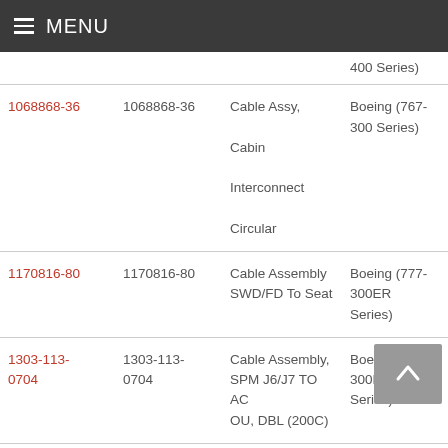MENU
| Part Link | Part Number | Description | Aircraft |
| --- | --- | --- | --- |
|  |  |  | 400 Series) |
| 1068868-36 | 1068868-36 | Cable Assy, Cabin Interconnect Circular | Boeing (767-300 Series) |
| 1170816-80 | 1170816-80 | Cable Assembly SWD/FD To Seat | Boeing (777-300ER Series) |
| 1303-113-0704 | 1303-113-0704 | Cable Assembly, SPM J6/J7 TO AC OU, DBL (200C) | Boeing (777-300ER Series) |
| 1170826-16 | 1170826-16 | Cable Assy., OU Extension | Boeing (767- |